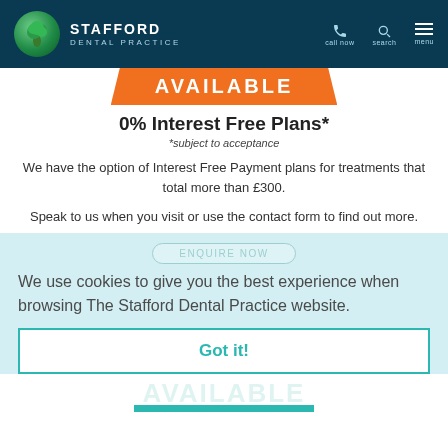STAFFORD DENTAL PRACTICE
[Figure (screenshot): Orange banner with text AVAILABLE in white bold letters on orange background]
0% Interest Free Plans*
*subject to acceptance
We have the option of Interest Free Payment plans for treatments that total more than £300.
Speak to us when you visit or use the contact form to find out more.
We use cookies to give you the best experience when browsing The Stafford Dental Practice website.
Got it!